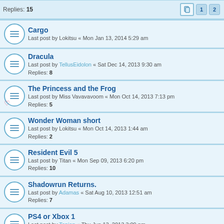Replies: 15 | page 1, 2
Cargo
Last post by Lokitsu « Mon Jan 13, 2014 5:29 am
Dracula
Last post by TellusEidolon « Sat Dec 14, 2013 9:30 am
Replies: 8
The Princess and the Frog
Last post by Miss Vavavavoom « Mon Oct 14, 2013 7:13 pm
Replies: 5
Wonder Woman short
Last post by Lokitsu « Mon Oct 14, 2013 1:44 am
Replies: 2
Resident Evil 5
Last post by Titan « Mon Sep 09, 2013 6:20 pm
Replies: 10
Shadowrun Returns.
Last post by Adamas « Sat Aug 10, 2013 12:51 am
Replies: 7
PS4 or Xbox 1
Last post by Tenjen « Thu Jun 13, 2013 3:09 pm
Replies: 4
The Sims
Last post by Searcher « Wed May 08, 2013 5:04 am
Replies: 4
The Silver Lining Tapestry Contest
Last post by aeridus « Mon Mar 11, 2013 2:29 am
Replies: 4